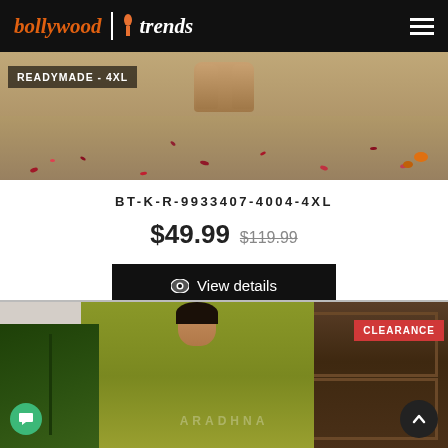bollywood trends
[Figure (photo): Partial product photo of Indian ethnic wear showing feet area with rose petals scattered on ground, with READYMADE - 4XL badge overlay]
BT-K-R-9933407-4004-4XL
$49.99 $119.99
View details
[Figure (photo): Woman wearing olive/chartreuse green Indian ethnic kurta set with embroidery, standing in front of ornate wooden door with palm plants. CLEARANCE badge shown. ARADHNA watermark visible.]